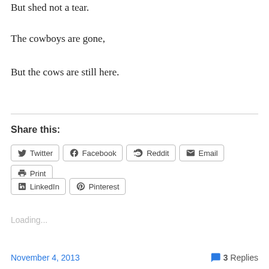But shed not a tear.
The cowboys are gone,
But the cows are still here.
Share this:
Twitter  Facebook  Reddit  Email  Print  LinkedIn  Pinterest
Loading...
November 4, 2013   3 Replies